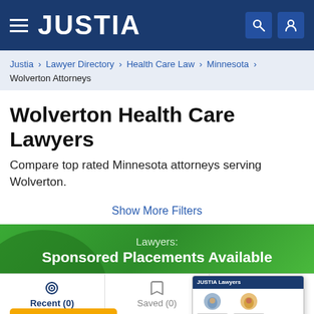JUSTIA
Justia › Lawyer Directory › Health Care Law › Minnesota › Wolverton Attorneys
Wolverton Health Care Lawyers
Compare top rated Minnesota attorneys serving Wolverton.
Show More Filters
[Figure (infographic): Green promotional banner reading 'Lawyers: Sponsored Placements Available' with a yellow 'Learn More' button and a screenshot of the Justia Lawyers website showing attorney profile cards.]
Recent (0)   Saved (0)   Compare (0/3)